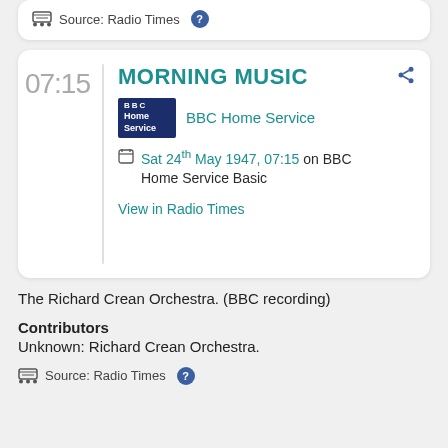Source: Radio Times
MORNING MUSIC
BBC Home Service
Sat 24th May 1947, 07:15 on BBC Home Service Basic
View in Radio Times
The Richard Crean Orchestra. (BBC recording)
Contributors
Unknown: Richard Crean Orchestra.
Source: Radio Times